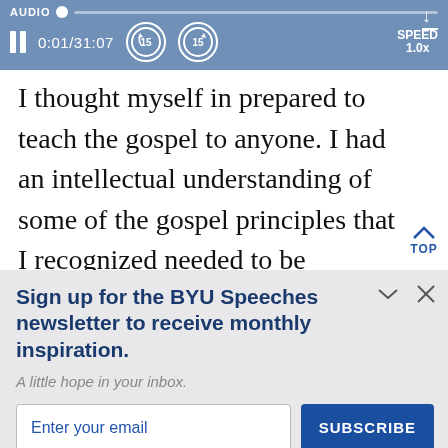[Figure (screenshot): Audio player bar with label AUDIO, progress dot, pause button, time 0:01/31:07, rewind 15s, forward 15s, speed 1.0x, and download icon]
I thought myself in prepared to teach the gospel to anyone. I had an intellectual understanding of some of the gospel principles that I recognized needed to be converted into a heart-centered, Holy-Gh...
Sign up for the BYU Speeches newsletter to receive monthly inspiration.
A little hope in your inbox.
Enter your email
SUBSCRIBE